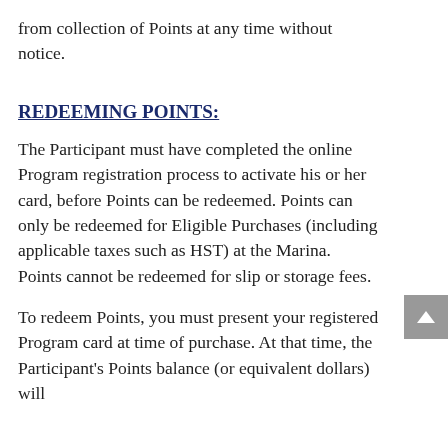from collection of Points at any time without notice.
REDEEMING POINTS:
The Participant must have completed the online Program registration process to activate his or her card, before Points can be redeemed. Points can only be redeemed for Eligible Purchases (including applicable taxes such as HST) at the Marina.   Points cannot be redeemed for slip or storage fees.
To redeem Points, you must present your registered Program card at time of purchase. At that time, the Participant's Points balance (or equivalent dollars) will